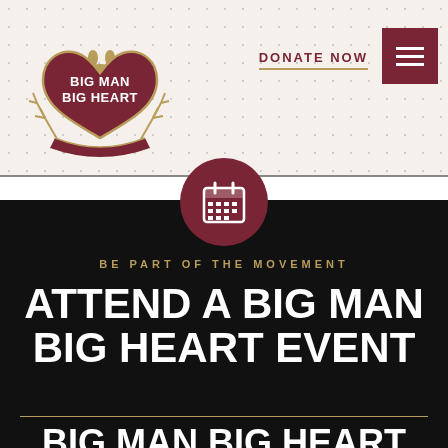[Figure (logo): Big Man Big Heart logo — heart shape with wheat wreath, maroon background, gold text reading BIG MAN BIG HEART]
DONATE NOW
[Figure (illustration): Calendar icon in white inside a maroon circle]
BE PART OF THE MOVEMENT
ATTEND A BIG MAN BIG HEART EVENT
BIG MAN BIG HEART TEACH A